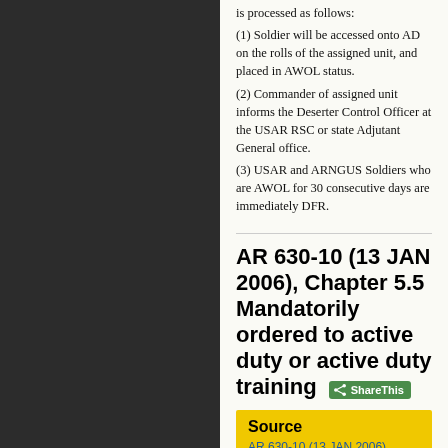(1) Soldier will be accessed onto AD on the rolls of the assigned unit, and placed in AWOL status.
(2) Commander of assigned unit informs the Deserter Control Officer at the USAR RSC or state Adjutant General office.
(3) USAR and ARNGUS Soldiers who are AWOL for 30 consecutive days are immediately DFR.
AR 630-10 (13 JAN 2006), Chapter 5.5 Mandatorily ordered to active duty or active duty training
Source
AR 630-10 (13 JAN 2006), Chapter 5.5 Mandatorily ordered to active duty or